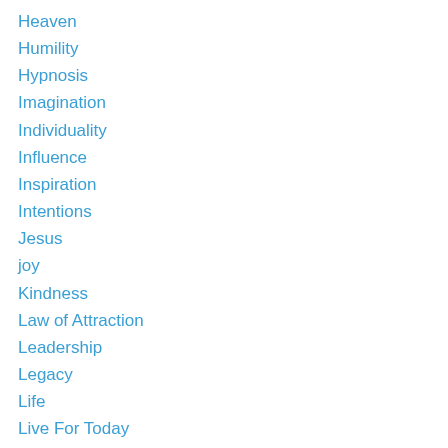Heaven
Humility
Hypnosis
Imagination
Individuality
Influence
Inspiration
Intentions
Jesus
joy
Kindness
Law of Attraction
Leadership
Legacy
Life
Live For Today
Love
Luck
make a difference
Meditation